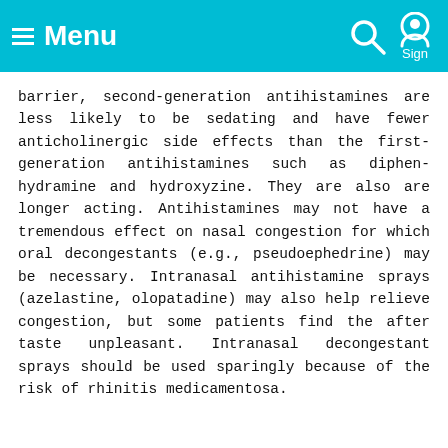Menu  Sign
barrier, second-generation antihistamines are less likely to be sedating and have fewer anticholinergic side effects than the first-generation antihistamines such as diphenhydramine and hydroxyzine. They are also are longer acting. Antihistamines may not have a tremendous effect on nasal congestion for which oral decongestants (e.g., pseudoephedrine) may be necessary. Intranasal antihistamine sprays (azelastine, olopatadine) may also help relieve congestion, but some patients find the after taste unpleasant. Intranasal decongestant sprays should be used sparingly because of the risk of rhinitis medicamentosa.